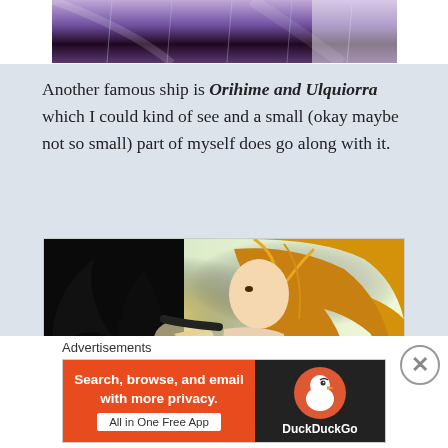[Figure (illustration): Top portion of anime illustration showing purple/dark background with rain effect, partially cropped]
Another famous ship is Orihime and Ulquiorra which I could kind of see and a small (okay maybe not so small) part of myself does go along with it.
[Figure (illustration): Anime illustration of two characters - one dark/shadowy figure and one with long golden hair, close together in an intimate pose with light background]
Advertisements
[Figure (screenshot): DuckDuckGo advertisement banner - orange left side with text 'Search, browse, and email with more privacy. All in One Free App' and dark right side with DuckDuckGo duck logo]